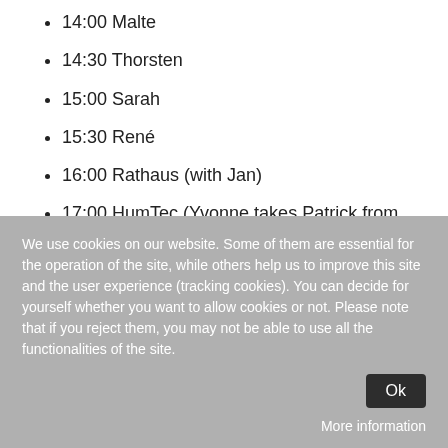14:00 Malte
14:30 Thorsten
15:00 Sarah
15:30 René
16:00 Rathaus (with Jan)
17:00 HumTec (Yvonne takes Patrick from Rathaus to HumTec)
We use cookies on our website. Some of them are essential for the operation of the site, while others help us to improve this site and the user experience (tracking cookies). You can decide for yourself whether you want to allow cookies or not. Please note that if you reject them, you may not be able to use all the functionalities of the site.
Ok
More information